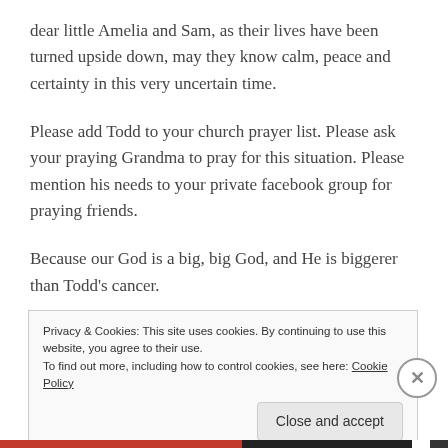dear little Amelia and Sam, as their lives have been turned upside down, may they know calm, peace and certainty in this very uncertain time.
Please add Todd to your church prayer list. Please ask your praying Grandma to pray for this situation. Please mention his needs to your private facebook group for praying friends.
Because our God is a big, big God, and He is biggerer than Todd's cancer.
Privacy & Cookies: This site uses cookies. By continuing to use this website, you agree to their use.
To find out more, including how to control cookies, see here: Cookie Policy
Close and accept